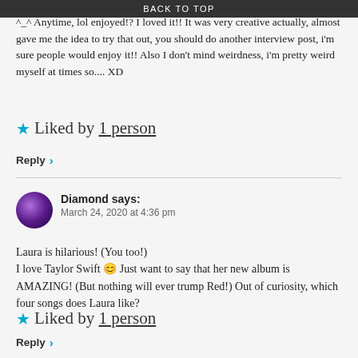BACK TO TOP
^_^ Anytime, lol enjoyed!? I loved it!! It was very creative actually, almost gave me the idea to try that out, you should do another interview post, i'm sure people would enjoy it!! Also I don't mind weirdness, i'm pretty weird myself at times so.... XD
★ Liked by 1 person
Reply ›
Diamond says:
March 24, 2020 at 4:36 pm
Laura is hilarious! (You too!)
I love Taylor Swift 😊 Just want to say that her new album is AMAZING! (But nothing will ever trump Red!) Out of curiosity, which four songs does Laura like?
★ Liked by 1 person
Reply ›
Clara says:
April 16, 2020 at 9:52 pm
Hehe, thank you from us both!
Laura said that she likes I Knew You Were Trouble, Bad Blood, A Place